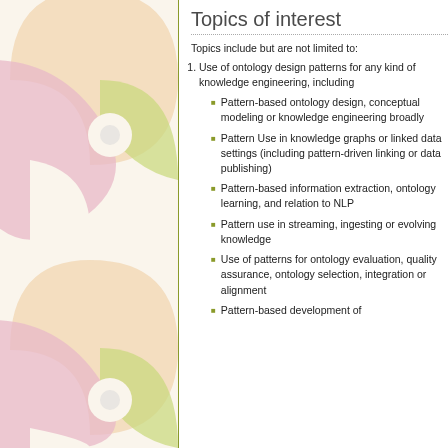[Figure (illustration): Decorative abstract shapes in pink, green, and peach/orange on a light background, forming curved puzzle-like or flower-like forms on the left panel of the page. Pattern repeats twice vertically.]
Topics of interest
Topics include but are not limited to:
Use of ontology design patterns for any kind of knowledge engineering, including
Pattern-based ontology design, conceptual modeling or knowledge engineering broadly
Pattern Use in knowledge graphs or linked data settings (including pattern-driven linking or data publishing)
Pattern-based information extraction, ontology learning, and relation to NLP
Pattern use in streaming, ingesting or evolving knowledge
Use of patterns for ontology evaluation, quality assurance, ontology selection, integration or alignment
Pattern-based development of